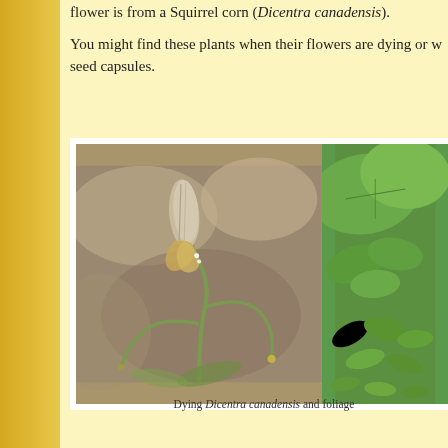flower is from a Squirrel corn (Dicentra canadensis).
You might find these plants when their flowers are dying or w… seed capsules.
[Figure (photo): Close-up photograph of a dying Squirrel corn (Dicentra canadensis) flower with drooping seed capsule on a green stem, with blurred brown background.]
[Figure (photo): Close-up photograph of green compound leaves, likely of Dicentra canadensis or related plant.]
Dying Dicentra canadensis and foliage